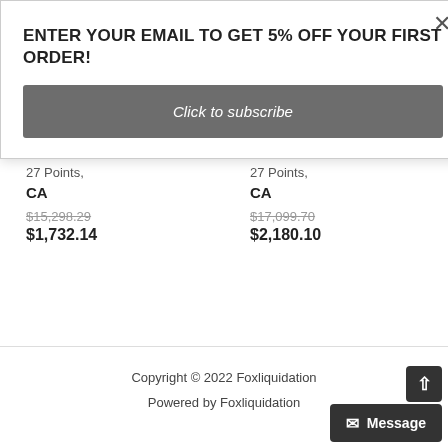ENTER YOUR EMAIL TO GET 5% OFF YOUR FIRST ORDER!
Click to subscribe
27 Points, CA
$15,298.29
$1,732.14
27 Points, CA
$17,099.70
$2,180.10
Copyright © 2022 Foxliquidation
Powered by Foxliquidation